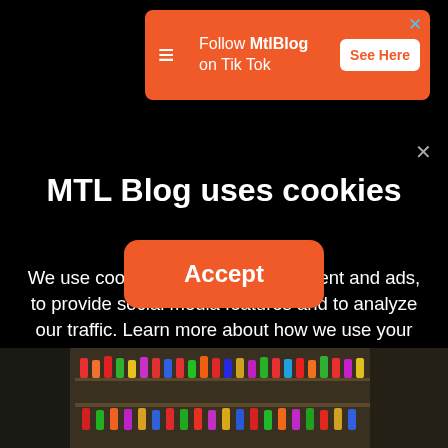[Figure (screenshot): Orange advertisement banner for MtlBlog on TikTok with logo, text 'Follow MtlBlog on Tik Tok', and 'See Here' button. Blue X close button in top right.]
MTL Blog uses cookies
We use cookies to personalize content and ads, to provide social media features and to analyze our traffic. Learn more about how we use your data in our cookie policy. By clicking Accept, you allow us to use cookies to give you the best experience on site.
[Figure (photo): Bottom strip showing a photograph of shelves with colorful bottles/products in a store or market setting.]